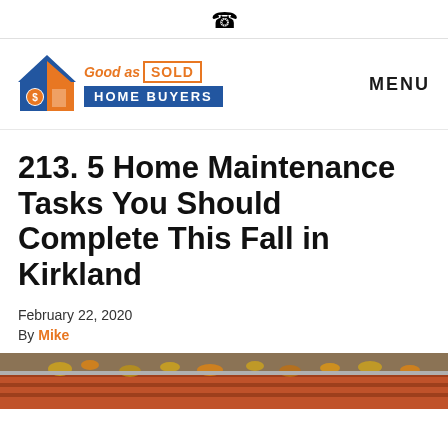☎
[Figure (logo): Good as SOLD HOME BUYERS logo with house icon in blue and orange]
MENU
213. 5 Home Maintenance Tasks You Should Complete This Fall in Kirkland
February 22, 2020
By Mike
[Figure (photo): Photo of autumn leaves on a roof/gutter]